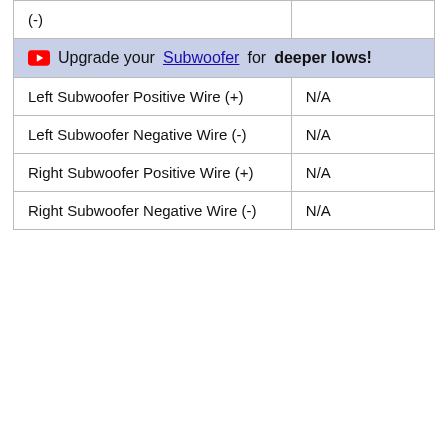|  |  |
| --- | --- |
| (-) |  |
| ▶ Upgrade your Subwoofer for deeper lows! |  |
| Left Subwoofer Positive Wire (+) | N/A |
| Left Subwoofer Negative Wire (-) | N/A |
| Right Subwoofer Positive Wire (+) | N/A |
| Right Subwoofer Negative Wire (-) | N/A |